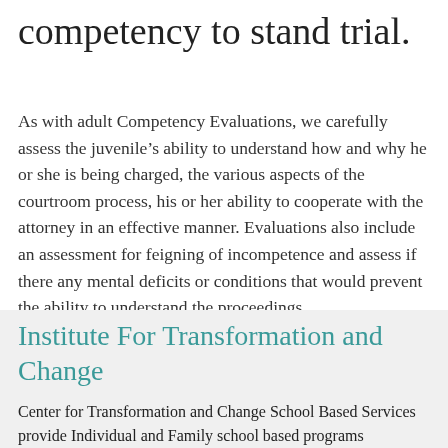competency to stand trial.
As with adult Competency Evaluations, we carefully assess the juvenile’s ability to understand how and why he or she is being charged, the various aspects of the courtroom process, his or her ability to cooperate with the attorney in an effective manner. Evaluations also include an assessment for feigning of incompetence and assess if there any mental deficits or conditions that would prevent the ability to understand the proceedings.
Institute For Transformation and Change
Center for Transformation and Change School Based Services provide Individual and Family school based programs